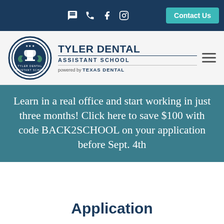Contact Us
[Figure (logo): Tyler Dental Assistant School logo with emblem and text, powered by Texas Dental]
Learn in a real office and start working in just three months! Click here to save $100 with code BACK2SCHOOL on your application before Sept. 4th
Application